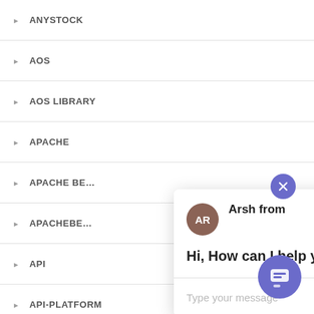ANYSTOCK
AOS
AOS LIBRARY
APACHE
APACHE BE...
APACHEBE...
API
API-PLATFORM
API.AI
[Figure (screenshot): Chat popup widget with avatar 'AR' for 'Arsh from', message 'Hi, How can I help you?', and a text input field with send button. A close (x) button in dark purple and a chat bubble icon button in purple are also visible.]